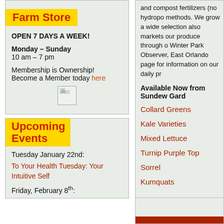Farm Store
OPEN 7 DAYS A WEEK!
Monday – Sunday
10 am – 7 pm
Membership is Ownership!
Become a Member today here
[Figure (illustration): Small broken image placeholder icon]
Upcoming Events
Tuesday January 22nd:
To Your Health Tuesday: Your Intuitive Self
Friday, February 8th:
and compost fertilizers (no hydropо methods. We grow a wide selection also markets our produce through o Winter Park Observer, East Orlando page for information on our daily pr
Available Now from Sundew Gard
Collard Greens
Kale Varieties
Mixed Lettuce
Turnip Purple Top
Sorrel
Kumquats